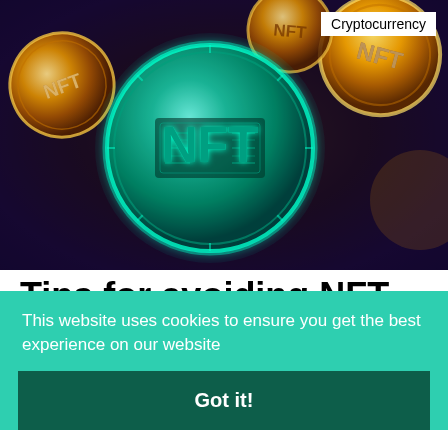[Figure (illustration): Multiple NFT coins floating in a dark purple/brown background. The central coin is teal/gold with 'NFT' text. Surrounding coins are golden with 'NFT' text.]
Cryptocurrency
Tips for avoiding NFT scams
Nowadays, many people are familiar with blockchain
This website uses cookies to ensure you get the best experience on our website
Got it!